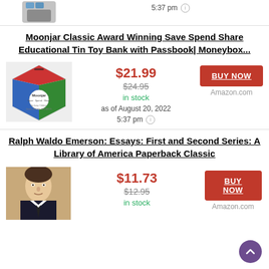5:37 pm
Moonjar Classic Award Winning Save Spend Share Educational Tin Toy Bank with Passbook| Moneybox...
$21.99
$24.95
in stock
as of August 20, 2022
5:37 pm
BUY NOW
Amazon.com
Ralph Waldo Emerson: Essays: First and Second Series: A Library of America Paperback Classic
$11.73
$12.95
in stock
BUY NOW
Amazon.com